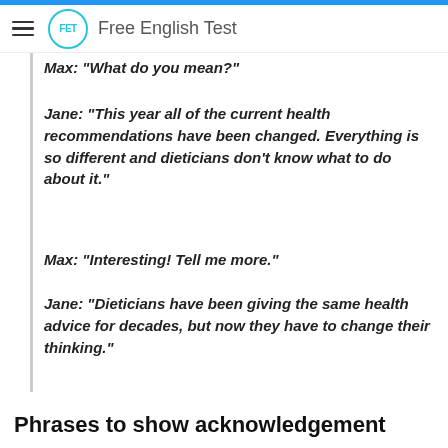Free English Test
Max: "What do you mean?"
Jane: "This year all of the current health recommendations have been changed. Everything is so different and dieticians don't know what to do about it."
Max: "Interesting! Tell me more."
Jane: "Dieticians have been giving the same health advice for decades, but now they have to change their thinking."
Phrases to show acknowledgement